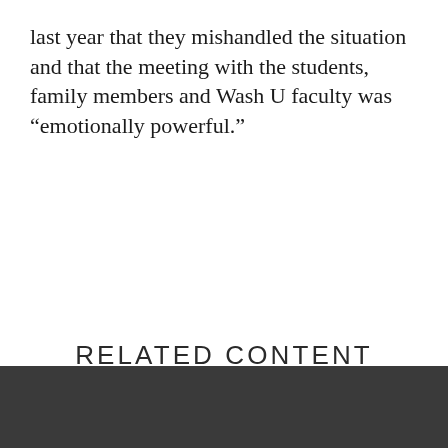last year that they mishandled the situation and that the meeting with the students, family members and Wash U faculty was “emotionally powerful.”
RELATED CONTENT